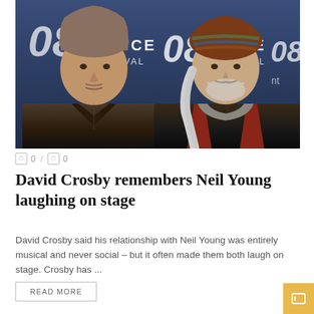[Figure (photo): Two men standing in front of a Sundance Film Festival 08 backdrop. The man on the left has gray-brown hair and wears a dark jacket. The man on the right has long white hair and wears a colorful knit beanie and dark jacket over a red shirt.]
0 / 0
David Crosby remembers Neil Young laughing on stage
David Crosby said his relationship with Neil Young was entirely musical and never social – but it often made them both laugh on stage. Crosby has ...
READ MORE